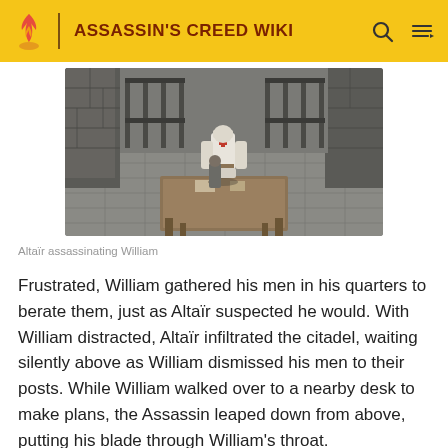ASSASSIN'S CREED WIKI
[Figure (screenshot): Video game screenshot showing Altaïr in a citadel courtyard about to assassinate William, viewed from an isometric perspective. The scene is in muted gray tones.]
Altaïr assassinating William
Frustrated, William gathered his men in his quarters to berate them, just as Altaïr suspected he would. With William distracted, Altaïr infiltrated the citadel, waiting silently above as William dismissed his men to their posts. While William walked over to a nearby desk to make plans, the Assassin leaped down from above, putting his blade through William's throat.
As William died, he claimed that he did not care about his